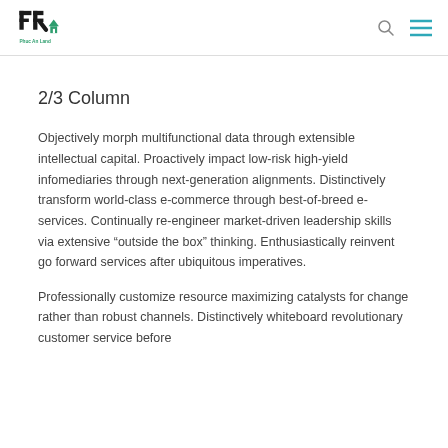Phuc An Land
2/3 Column
Objectively morph multifunctional data through extensible intellectual capital. Proactively impact low-risk high-yield infomediaries through next-generation alignments. Distinctively transform world-class e-commerce through best-of-breed e-services. Continually re-engineer market-driven leadership skills via extensive “outside the box” thinking. Enthusiastically reinvent go forward services after ubiquitous imperatives.
Professionally customize resource maximizing catalysts for change rather than robust channels. Distinctively whiteboard revolutionary customer service before